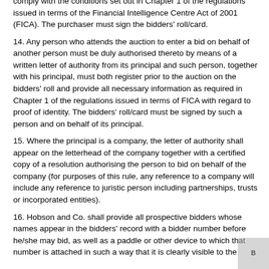comply with the conditions set out in Chapter 1 of the regulations issued in terms of the Financial Intelligence Centre Act of 2001 (FICA). The purchaser must sign the bidders' roll/card.
14. Any person who attends the auction to enter a bid on behalf of another person must be duly authorised thereto by means of a written letter of authority from its principal and such person, together with his principal, must both register prior to the auction on the bidders' roll and provide all necessary information as required in Chapter 1 of the regulations issued in terms of FICA with regard to proof of identity. The bidders' roll/card must be signed by such a person and on behalf of its principal.
15. Where the principal is a company, the letter of authority shall appear on the letterhead of the company together with a certified copy of a resolution authorising the person to bid on behalf of the company (for purposes of this rule, any reference to a company will include any reference to juristic person including partnerships, trusts or incorporated entities).
16. Hobson and Co. shall provide all prospective bidders whose names appear in the bidders' record with a bidder number before he/she may bid, as well as a paddle or other device to which that number is attached in such a way that it is clearly visible to the